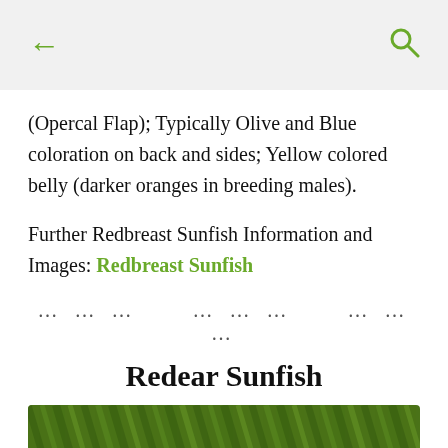← (back) … (search)
(Opercal Flap); Typically Olive and Blue coloration on back and sides; Yellow colored belly (darker oranges in breeding males).
Further Redbreast Sunfish Information and Images: Redbreast Sunfish
… … ..     … … …     … … …
Redear Sunfish
[Figure (photo): Photo of Redear Sunfish in grassy/weedy habitat, showing green vegetation]